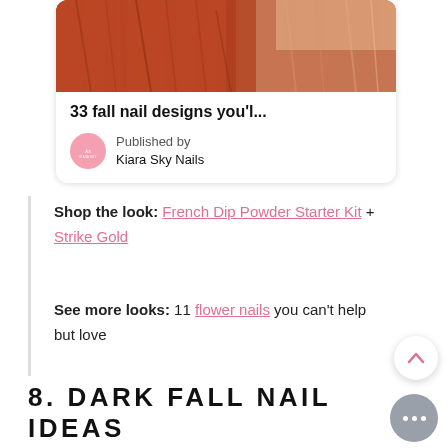[Figure (screenshot): Card showing a close-up photo of auburn/red fur or hair texture with rounded card container]
33 fall nail designs you'l...
Published by Kiara Sky Nails
Shop the look: French Dip Powder Starter Kit + Strike Gold
See more looks: 11 flower nails you can't help but love
8. DARK FALL NAIL IDEAS